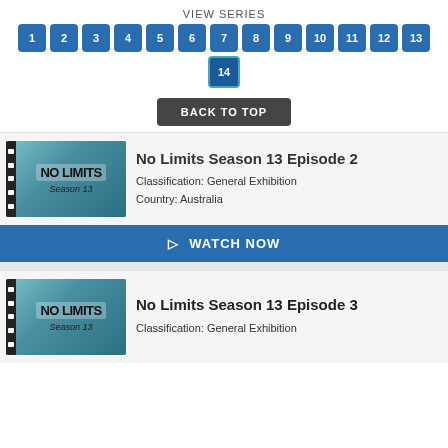VIEW SERIES
1 2 3 4 5 6 7 8 9 10 11 12 13 14 (pagination buttons)
BACK TO TOP
[Figure (screenshot): Thumbnail for No Limits Season 13 showing title card with film strip edge]
No Limits Season 13 Episode 2
Classification: General Exhibition
Country: Australia
▷ WATCH NOW
[Figure (screenshot): Thumbnail for No Limits Season 13 showing title card with film strip edge]
No Limits Season 13 Episode 3
Classification: General Exhibition